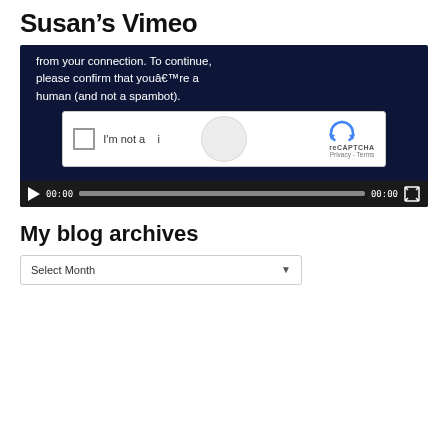Susan’s Vimeo
[Figure (screenshot): Vimeo video player showing a CAPTCHA overlay with text 'from your connection. To continue, please confirm that youâ€™re a human (and not a spambot).' with reCAPTCHA checkbox widget and video controls bar at the bottom showing 00:00 timestamps and a progress bar.]
My blog archives
Select Month